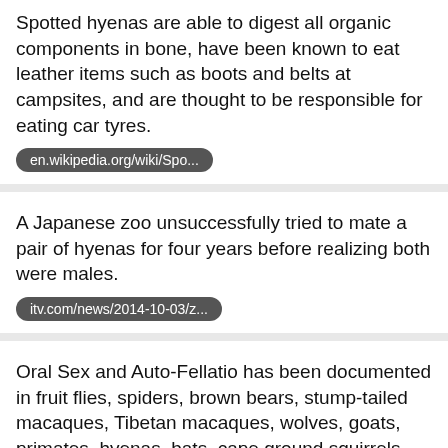Spotted hyenas are able to digest all organic components in bone, have been known to eat leather items such as boots and belts at campsites, and are thought to be responsible for eating car tyres.
en.wikipedia.org/wiki/Spo...
A Japanese zoo unsuccessfully tried to mate a pair of hyenas for four years before realizing both were males.
itv.com/news/2014-10-03/z...
Oral Sex and Auto-Fellatio has been documented in fruit flies, spiders, brown bears, stump-tailed macaques, Tibetan macaques, wolves, goats, primates, hyenas, bats, cape ground squirrels and sheep
en.wikipedia.org/wiki/Non...